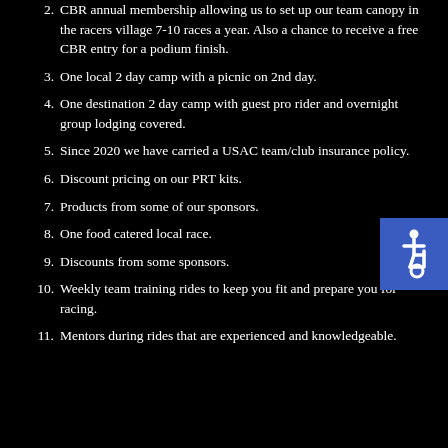2. CBR annual membership allowing us to set up our team canopy in the racers village 7-10 races a year. Also a chance to receive a free CBR entry for a podium finish.
3. One local 2 day camp with a picnic on 2nd day.
4. One destination 2 day camp with guest pro rider and overnight group lodging covered.
5. Since 2020 we have carried a USAC team/club insurance policy.
6. Discount pricing on our PRT kits.
7. Products from some of our sponsors.
8. One food catered local race.
9. Discounts from some sponsors.
10. Weekly team training rides to keep you fit and prepare you for racing.
11. Mentors during rides that are experienced and knowledgeable.